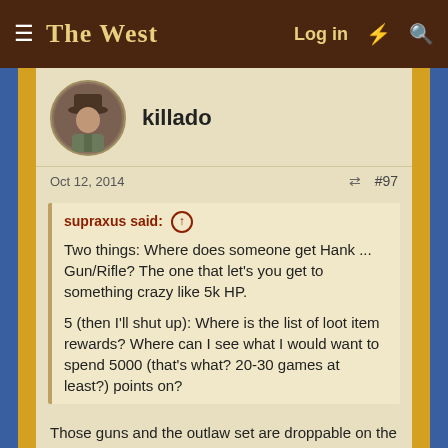The West — Log in
[Figure (illustration): Circular avatar of a cowboy character for user killado]
killado
Oct 12, 2014  #97
supraxus said: ↑  Two things: Where does someone get Hank ... Gun/Rifle? The one that let's you get to something crazy like 5k HP.  5 (then I'll shut up): Where is the list of loot item rewards? Where can I see what I would want to spend 5000 (that's what? 20-30 games at least?) points on?
Those guns and the outlaw set are droppable on the loot chests.
On the loot chests you can get any piece of the outlaw set, that gun, mojo, 1% experience, 5% experience and 5 special potions that will give you a 25% bónus on products drop/luck/energy (and 2 others i can´t remember now) for 8h.